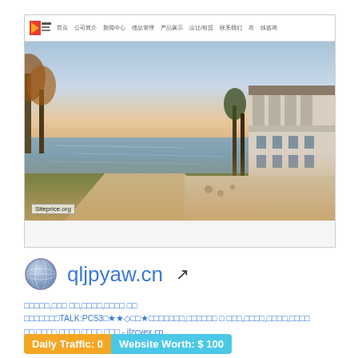[Figure (screenshot): Screenshot of a Chinese real estate or technology website (qljpyaw.cn) showing a header with logo and navigation, and a large photo of a lakeside property with classical architecture at dusk.]
qljpyaw.cn ↗
□□□□□,□□□ □□,□□□□,□□□□ □□
□□□□□□□TALK:PC53□★★◇□□★□□□□□□□,□□□□□□ □ □□□,□□□□,□□□□,□□□□□□,□□□□,□□□□,□□□□ □□□ - jlzcyex.cn
Daily Traffic: 0
Website Worth: $ 100